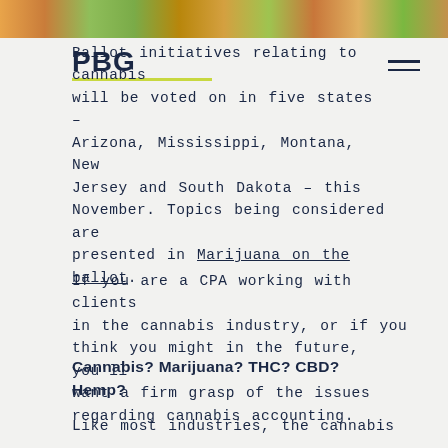[Figure (photo): Colorful cannabis-related decorative banner image at top of page]
PBG
Ballot initiatives relating to cannabis will be voted on in five states – Arizona, Mississippi, Montana, New Jersey and South Dakota – this November. Topics being considered are presented in Marijuana on the ballot.
If you are a CPA working with clients in the cannabis industry, or if you think you might in the future, you'll want a firm grasp of the issues regarding cannabis accounting.
Cannabis? Marijuana? THC? CBD? Hemp?
Like most industries, the cannabis